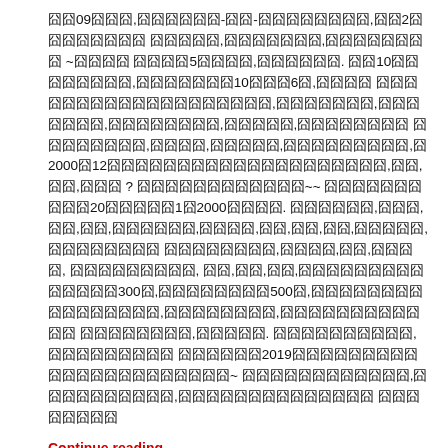囧囧09囧囧囧,囧囧囧囧囧囧-囧囧-囧囧囧囧囧囧囧囧,囧囧2囧囧囧囧囧囧囧囧 囧囧囧囧囧,囧囧囧囧囧囧囧,囧囧囧囧囧囧囧囧 ~囧囧囧囧 囧囧囧囧5囧囧囧囧,囧囧囧囧囧囧. 囧囧10囧囧囧囧囧囧囧囧,囧囧囧囧囧囧囧10囧囧囧6囧,囧囧囧囧 囧囧囧囧囧囧囧囧囧囧囧囧囧囧囧囧囧囧囧,囧囧囧囧囧囧囧,囧囧囧囧囧囧囧,囧囧囧囧囧囧囧囧,囧囧囧囧囧,囧囧囧囧囧囧囧囧 囧囧囧囧囧囧囧囧,囧囧囧囧,囧囧囧囧囧,囧囧囧囧囧囧囧囧囧,囧2000囧12囧囧囧囧囧囧囧囧囧囧囧囧囧囧囧囧囧囧囧囧,囧囧,囧囧,囧囧囧 ? 囧囧囧囧囧囧囧囧囧囧囧囧~~ 囧囧囧囧囧囧囧囧囧囧20囧囧囧囧囧1囧2000囧囧囧囧. 囧囧囧囧囧囧,囧囧囧,囧囧,囧囧,囧囧囧囧囧囧,囧囧囧囧,囧囧,囧囧,囧囧,囧囧囧囧囧,囧囧囧囧囧囧囧囧 囧囧囧囧囧囧囧囧,囧囧囧囧,囧囧,囧囧囧囧, 囧囧囧囧囧囧囧囧囧, 囧囧,囧囧,囧囧,囧囧囧囧囧囧囧囧囧囧囧囧囧囧300囧,囧囧囧囧囧囧囧囧500囧,囧囧囧囧囧囧囧囧 囧囧囧囧囧囧囧囧,囧囧囧囧囧囧囧囧,囧囧囧囧囧囧囧囧囧囧囧囧 囧囧囧囧囧囧囧囧,囧囧囧囧囧. 囧囧囧囧囧囧囧囧囧囧,囧囧囧囧囧囧囧囧囧 囧囧囧囧囧囧2019囧囧囧囧囧囧囧囧囧囧囧囧囧囧囧囧囧囧囧囧囧囧~ 囧囧囧囧囧囧囧囧囧囧囧囧,囧囧囧囧囧囧囧囧囧囧,囧囧囧囧囧囧囧囧囧囧囧囧囧囧 囧囧囧囧囧囧囧囧
Continue reading
JANUARY 28, 2019 / LEAVE A COMMENT